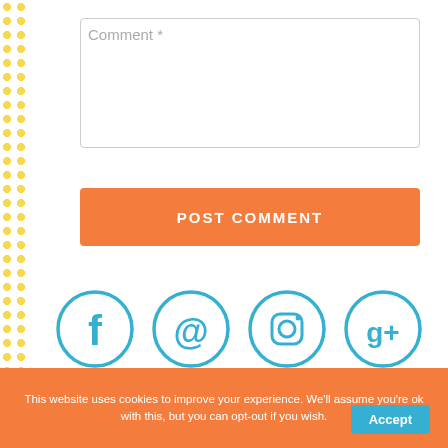[Figure (screenshot): Comment text input box with placeholder text 'Comment *']
[Figure (screenshot): Orange 'POST COMMENT' button]
[Figure (infographic): Four social media icons in blue circles: Facebook, Pinterest, Instagram, Google+]
[Figure (screenshot): Blue rounded banner with 'TpT StORe' text in white playful font]
This website uses cookies to improve your experience. We'll assume you're ok with this, but you can opt-out if you wish.
Accept